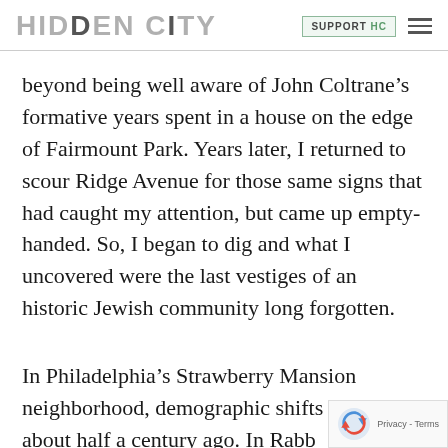HIDDEN CITY | SUPPORT HC
beyond being well aware of John Coltrane’s formative years spent in a house on the edge of Fairmount Park. Years later, I returned to scour Ridge Avenue for those same signs that had caught my attention, but came up empty-handed. So, I began to dig and what I uncovered were the last vestiges of an historic Jewish community long forgotten.
In Philadelphia’s Strawberry Mansion neighborhood, demographic shifts took place about half a century ago. In Rabb